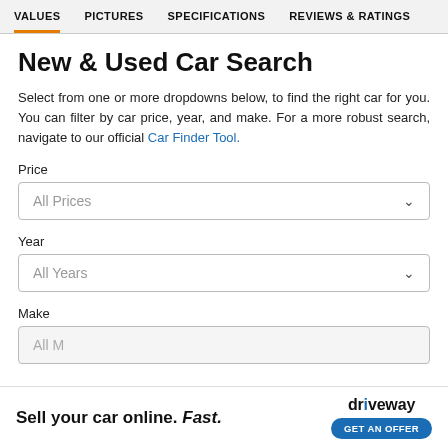VALUES  PICTURES  SPECIFICATIONS  REVIEWS & RATINGS
New & Used Car Search
Select from one or more dropdowns below, to find the right car for you. You can filter by car price, year, and make. For a more robust search, navigate to our official Car Finder Tool.
Price
All Prices
Year
All Years
Make
[Figure (screenshot): Advertisement banner: 'Sell your car online. Fast.' with Driveway logo and 'GET AN OFFER' button]